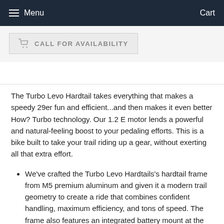Menu   Cart
CALL FOR AVAILABILITY
The Turbo Levo Hardtail takes everything that makes a speedy 29er fun and efficient...and then makes it even better How? Turbo technology. Our 1.2 E motor lends a powerful and natural-feeling boost to your pedaling efforts. This is a bike built to take your trail riding up a gear, without exerting all that extra effort.
We've crafted the Turbo Levo Hardtails's hardtail frame from M5 premium aluminum and given it a modern trail geometry to create a ride that combines confident handling, maximum efficiency, and tons of speed. The frame also features an integrated battery mount at the down tube for fast and easy battery removal, plus a forged and braced motor mount at bottom bracket. This keeps the bike clean and perfect for the battery or it weight distribution...